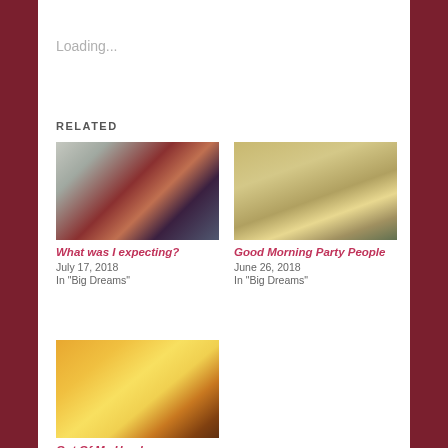Loading...
RELATED
[Figure (photo): Illustration of a woman in a superhero costume with long dark hair, seen from behind]
What was I expecting?
July 17, 2018
In "Big Dreams"
[Figure (photo): Close-up photo of a small fluffy dog with a purple collar]
Good Morning Party People
June 26, 2018
In "Big Dreams"
[Figure (photo): Photo of hands held up against a bright golden light]
Out Of My Hands
August 17, 2021